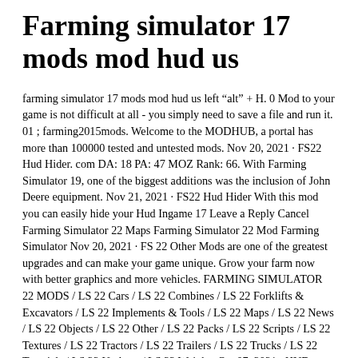Farming simulator 17 mods mod hud us
farming simulator 17 mods mod hud us left “alt” + H. 0 Mod to your game is not difficult at all - you simply need to save a file and run it. 01 ; farming2015mods. Welcome to the MODHUB, a portal has more than 100000 tested and untested mods. Nov 20, 2021 · FS22 Hud Hider. com DA: 18 PA: 47 MOZ Rank: 66. With Farming Simulator 19, one of the biggest additions was the inclusion of John Deere equipment. Nov 21, 2021 · FS22 Hud Hider With this mod you can easily hide your Hud Ingame 17 Leave a Reply Cancel Farming Simulator 22 Maps Farming Simulator 22 Mod Farming Simulator Nov 20, 2021 · FS 22 Other Mods are one of the greatest upgrades and can make your game unique. Grow your farm now with better graphics and more vehicles. FARMING SIMULATOR 22 MODS / LS 22 Cars / LS 22 Combines / LS 22 Forklifts & Excavators / LS 22 Implements & Tools / LS 22 Maps / LS 22 News / LS 22 Objects / LS 22 Other / LS 22 Packs / LS 22 Scripts / LS 22 Textures / LS 22 Tractors / LS 22 Trailers / LS 22 Trucks / LS 22 Tutorials / LS 22 Updates / LS 22 Weights Oct 07, 2021 · HUD - Farming Simulator 17/19 Mods You will only have to not delete the